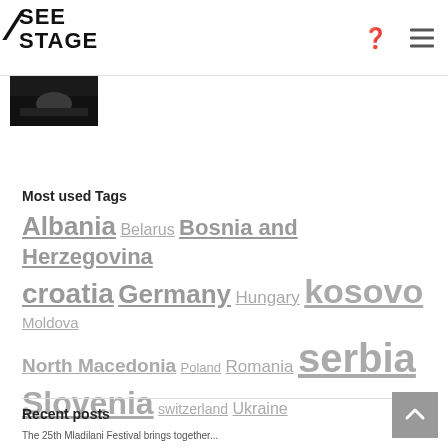SEE STAGE
[Figure (photo): Small dark thumbnail image of a performance or stage scene]
Most used Tags
Albania  Belarus  Bosnia and Herzegovina  croatia  Germany  Hungary  kosovo  Moldova  North Macedonia  Poland  Romania  serbia  Slovenia  switzerland  Ukraine
Recent posts
The 25th Mladilani Festival brings together...